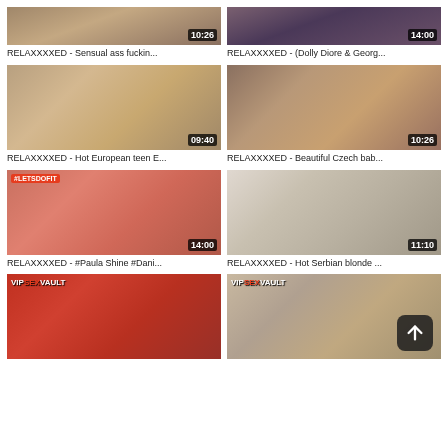[Figure (screenshot): Video thumbnail grid - adult content video listing page with 8 video thumbnails in 2-column layout]
RELAXXXXED - Sensual ass fuckin... 10:26
RELAXXXXED - (Dolly Diore & Georg... 14:00
RELAXXXXED - Hot European teen E... 09:40
RELAXXXXED - Beautiful Czech bab... 10:26
RELAXXXXED - #Paula Shine #Dani... 14:00
RELAXXXXED - Hot Serbian blonde ... 11:10
VIPSEXVAULT thumbnail row 4 left
VIPSEXVAULT thumbnail row 4 right